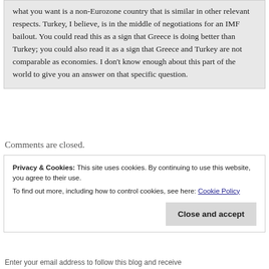what you want is a non-Eurozone country that is similar in other relevant respects. Turkey, I believe, is in the middle of negotiations for an IMF bailout. You could read this as a sign that Greece is doing better than Turkey; you could also read it as a sign that Greece and Turkey are not comparable as economies. I don't know enough about this part of the world to give you an answer on that specific question.
Comments are closed.
Privacy & Cookies: This site uses cookies. By continuing to use this website, you agree to their use. To find out more, including how to control cookies, see here: Cookie Policy
Close and accept
Enter your email address to follow this blog and receive